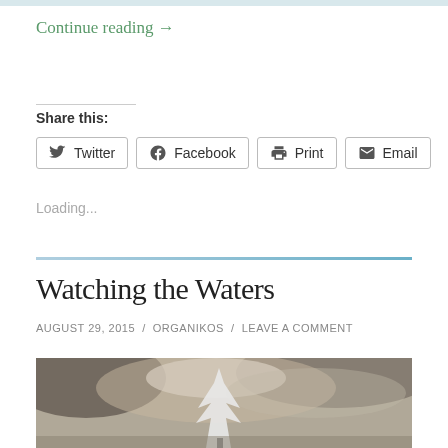Continue reading →
Share this:
Twitter  Facebook  Print  Email
Loading...
Watching the Waters
AUGUST 29, 2015 / ORGANIKOS / LEAVE A COMMENT
[Figure (photo): Black and white / sepia-toned photo of a snow-covered tree against a dramatic cloudy sky]